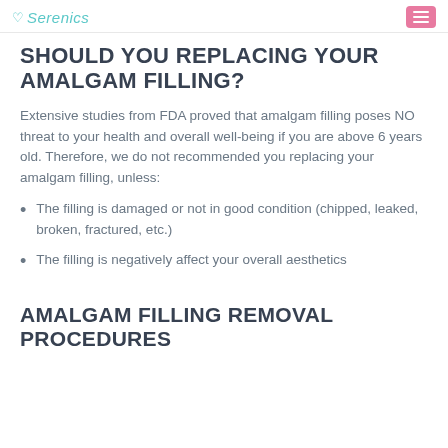Serenics
SHOULD YOU REPLACING YOUR AMALGAM FILLING?
Extensive studies from FDA proved that amalgam filling poses NO threat to your health and overall well-being if you are above 6 years old. Therefore, we do not recommended you replacing your amalgam filling, unless:
The filling is damaged or not in good condition (chipped, leaked, broken, fractured, etc.)
The filling is negatively affect your overall aesthetics
AMALGAM FILLING REMOVAL PROCEDURES